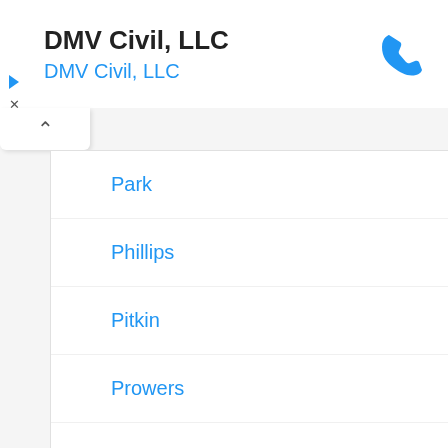DMV Civil, LLC
DMV Civil, LLC
Park
Phillips
Pitkin
Prowers